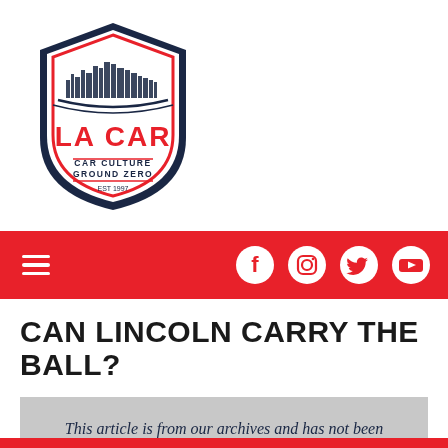[Figure (logo): LA CAR shield logo with city skyline, red and navy blue colors, text 'LA CAR' in red and 'CAR CULTURE GROUND ZERO EST 1997' in navy]
[Figure (infographic): Red navigation bar with white hamburger menu icon on left and white social media icons (Facebook, Instagram, Twitter, YouTube) on right]
CAN LINCOLN CARRY THE BALL?
This article is from our archives and has not been updated and integrated with our "new" site yet... Even so, it's still awesome - so keep reading!